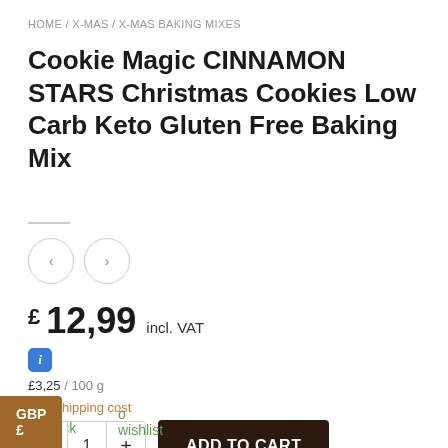HOME / X-MAS / X-MAS BAKING MIXES
Cookie Magic CINNAMON STARS Christmas Cookies Low Carb Keto Gluten Free Baking Mix
£12,99 incl. VAT
£3,25 / 100 g
plus shipping cost
In stock
ADD TO CART
GBP £
o wishlist